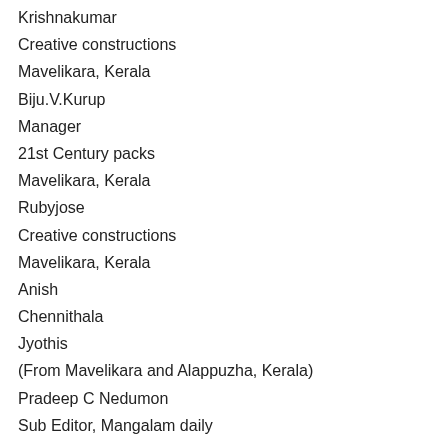Krishnakumar
Creative constructions
Mavelikara, Kerala
Biju.V.Kurup
Manager
21st Century packs
Mavelikara, Kerala
Rubyjose
Creative constructions
Mavelikara, Kerala
Anish
Chennithala
Jyothis
(From Mavelikara and Alappuzha, Kerala)
Pradeep C Nedumon
Sub Editor, Mangalam daily
Mavelikara, Kerala